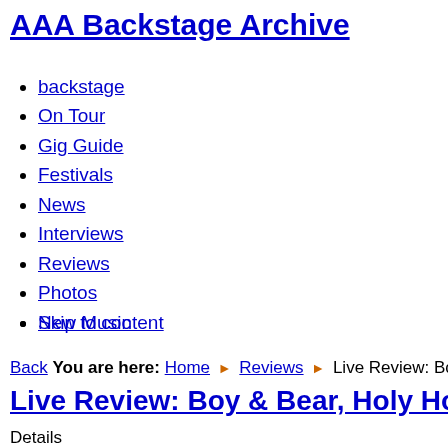AAA Backstage Archive
backstage
On Tour
Gig Guide
Festivals
News
Interviews
Reviews
Photos
New Music
Skip to content
Back You are here: Home › Reviews › Live Review: Boy & Bear,
Live Review: Boy & Bear, Holy Holy @ Th
Details
    Written by Ally Cole
Tweet